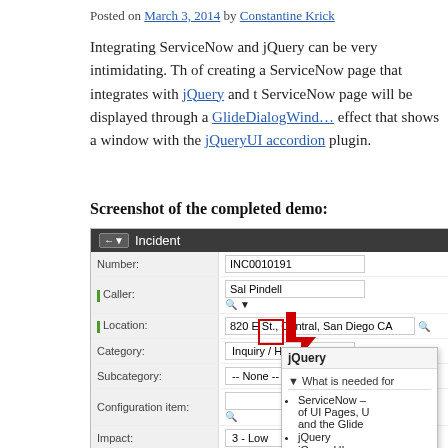Posted on March 3, 2014 by Constantine Krick
Integrating ServiceNow and jQuery can be very intimidating. This walks through the process of creating a ServiceNow page that integrates with jQuery and the ServiceNow page will be displayed through a GlideDialogWindow with a cool effect that shows a window with the jQueryUI accordion plugin.
Screenshot of the completed demo:
[Figure (screenshot): Screenshot of a ServiceNow Incident form showing fields: Number (INC0010191), Caller (Sal Pindell), Location (820 E St., Central, San Diego CA), Category (Inquiry / Help), Subcategory (-- None --), Configuration item, Impact (3 - Low), Urgency (3 - Low), Priority (4 - Low), Affected CIs. Overlaid is a jQuery popup panel showing an accordion with 'What is needed for' header and bullet points: ServiceNow (of UI Pages, U and the Glide), jQuery, jQuery UI. There is a red box highlighting a dropdown arrow button and a red arrow pointing to the jQuery popup.]